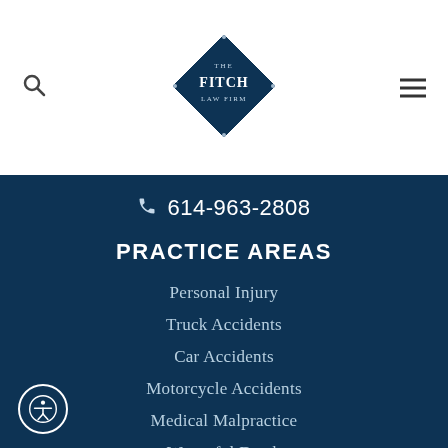[Figure (logo): The Fitch Law Firm diamond-shaped logo in dark navy blue with white text]
614-963-2808
PRACTICE AREAS
Personal Injury
Truck Accidents
Car Accidents
Motorcycle Accidents
Medical Malpractice
Wrongful Death
Traumatic Brain Injury
Dog Bite